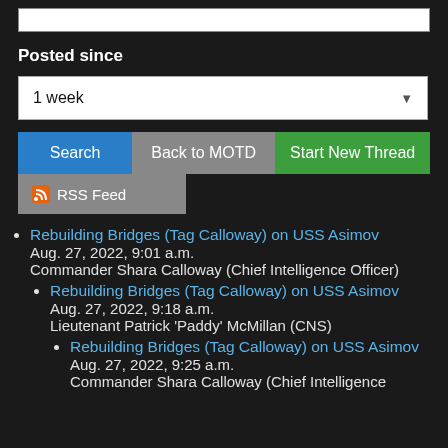[input bar top]
Posted since
1 week
Search | Back to MOTD | Start New Thread
RSS Feed
Rebuilding Bridges (Tag Calloway) on USS Asimov
Aug. 27, 2022, 9:01 a.m.
Commander Shara Calloway (Chief Intelligence Officer)
Rebuilding Bridges (Tag Calloway) on USS Asimov
Aug. 27, 2022, 9:18 a.m.
Lieutenant Patrick 'Paddy' McMillan (CNS)
Rebuilding Bridges (Tag Calloway) on USS Asimov
Aug. 27, 2022, 9:25 a.m.
Commander Shara Calloway (Chief Intelligence